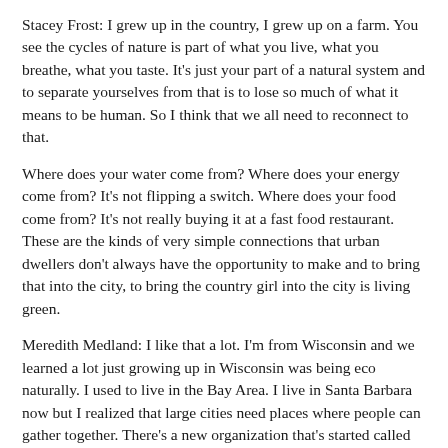Stacey Frost: I grew up in the country, I grew up on a farm. You see the cycles of nature is part of what you live, what you breathe, what you taste. It's just your part of a natural system and to separate yourselves from that is to lose so much of what it means to be human. So I think that we all need to reconnect to that.
Where does your water come from? Where does your energy come from? It's not flipping a switch. Where does your food come from? It's not really buying it at a fast food restaurant. These are the kinds of very simple connections that urban dwellers don't always have the opportunity to make and to bring that into the city, to bring the country girl into the city is living green.
Meredith Medland: I like that a lot. I'm from Wisconsin and we learned a lot just growing up in Wisconsin was being eco naturally. I used to live in the Bay Area. I live in Santa Barbara now but I realized that large cities need places where people can gather together. There's a new organization that's started called Eco Tuesday, EcoTuesday.com and they do an event every, I believe, it's fourth Tuesday of the month. So there's more and more places especially in the Bay Area where are coming together and really finding a hobby can build sustainable urban practices.
So I'm curious though how you got involved in it because you were in the real estate for a little bit, weren't you?